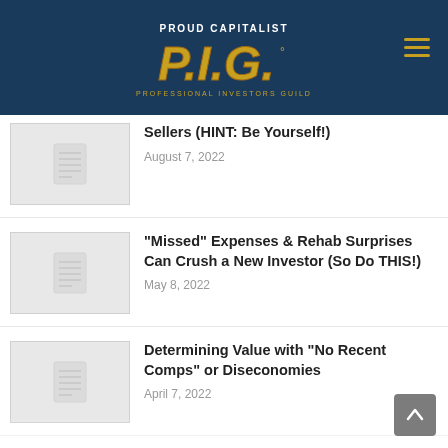PROUD CAPITALIST P.I.G. PROFESSIONAL INVESTORS GUILD
Sellers (HINT: Be Yourself!)
August 7, 2022
“Missed” Expenses & Rehab Surprises Can Crush a New Investor (So Do THIS!)
May 8, 2022
Determining Value with “No Recent Comps” or Diseconomies
April 7, 2022
Not Even the Uber-Rich Can Avoid the Effects of a Recession (So Be Prepared